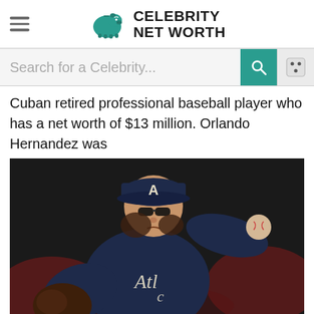CELEBRITY NET WORTH
Search for a Celebrity...
Cuban retired professional baseball player who has a net worth of $13 million. Orlando Hernandez was
[Figure (photo): Baseball pitcher in Atlanta Braves dark navy uniform and cap with the 'A' logo, mid-windup throwing a pitch, wearing sunglasses, with a glove on left hand and baseball in right hand. Dark/blurred stadium background with red crowd.]